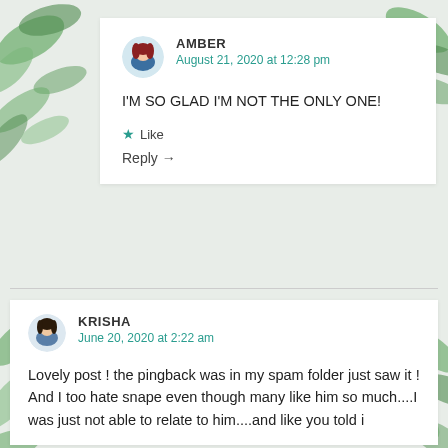AMBER
August 21, 2020 at 12:28 pm
I'M SO GLAD I'M NOT THE ONLY ONE!
★ Like
Reply →
KRISHA
June 20, 2020 at 2:22 am
Lovely post ! the pingback was in my spam folder just saw it ! And I too hate snape even though many like him so much....I was just not able to relate to him....and like you told i